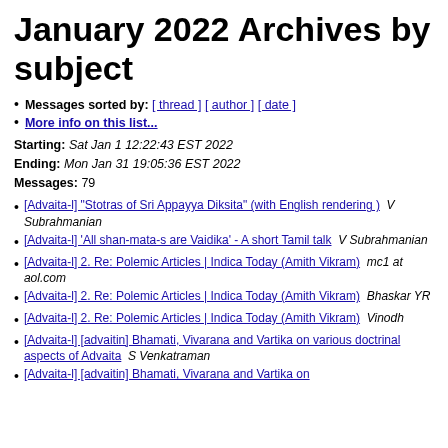January 2022 Archives by subject
Messages sorted by: [ thread ] [ author ] [ date ]
More info on this list...
Starting: Sat Jan 1 12:22:43 EST 2022
Ending: Mon Jan 31 19:05:36 EST 2022
Messages: 79
[Advaita-l] "Stotras of Sri Appayya Diksita" (with English rendering )   V Subrahmanian
[Advaita-l] 'All shan-mata-s are Vaidika' - A short Tamil talk   V Subrahmanian
[Advaita-l] 2. Re: Polemic Articles | Indica Today (Amith Vikram)   mc1 at aol.com
[Advaita-l] 2. Re: Polemic Articles | Indica Today (Amith Vikram)   Bhaskar YR
[Advaita-l] 2. Re: Polemic Articles | Indica Today (Amith Vikram)   Vinodh
[Advaita-l] [advaitin] Bhamati, Vivarana and Vartika on various doctrinal aspects of Advaita   S Venkatraman
[Advaita-l] [advaitin] Bhamati, Vivarana and Vartika on...